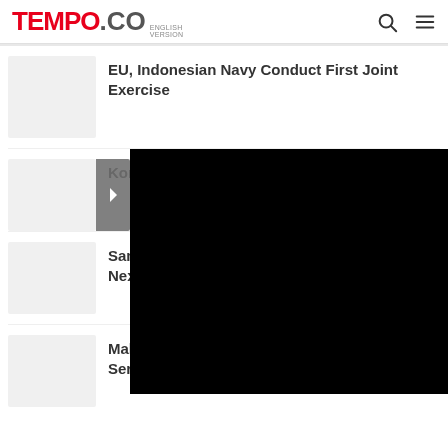TEMPO.CO ENGLISH VERSION
EU, Indonesian Navy Conduct First Joint Exercise
Kominfo Looks Into Alleged Indihome Major...
San... Nex...
Malta Ranks 1st in Europe in eGovernment Services